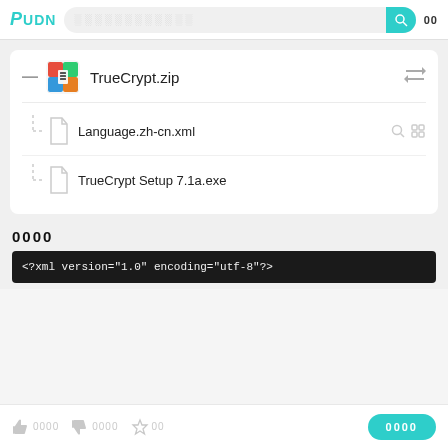PUON [search bar] [search button] 00
[Figure (screenshot): File archive card showing TrueCrypt.zip with two files: Language.zh-cn.xml and TrueCrypt Setup 7.1a.exe, with a colorful zip icon and file tree view]
0000
[Figure (screenshot): Code preview bar showing: <?xml version="1.0" encoding="utf-8"?>]
0000 0000 00  [button: 0000]